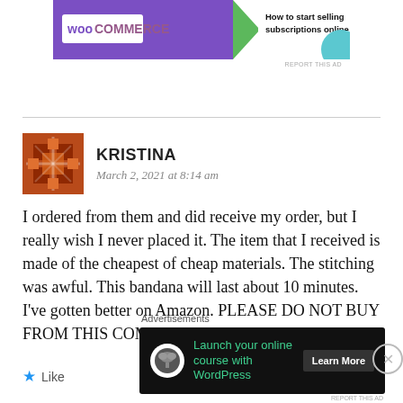[Figure (screenshot): WooCommerce advertisement banner: purple background with WooCommerce logo, green chevron arrow, text 'How to start selling subscriptions online', and teal circle graphic]
REPORT THIS AD
KRISTINA
March 2, 2021 at 8:14 am
I ordered from them and did receive my order, but I really wish I never placed it. The item that I received is made of the cheapest of cheap materials. The stitching was awful. This bandana will last about 10 minutes. I've gotten better on Amazon. PLEASE DO NOT BUY FROM THIS COMPANY.
Like
Advertisements
[Figure (screenshot): Dark advertisement banner: 'Launch your online course with WordPress' with Learn More button and tree/cloud icon]